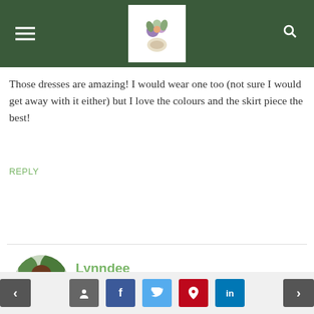Blog site header with hamburger menu, logo, and search icon
Those dresses are amazing! I would wear one too (not sure I would get away with it either) but I love the colours and the skirt piece the best!
REPLY
[Figure (photo): Circular avatar photo of Lynndee, a woman with brown hair]
Lynndee
March 15, 2016 at 3:17 pm
She’s so adorable! I totally love the outfit on her. I’m so into stripes lately. Those shoes are just so pretty!
REPLY
Navigation and social share buttons: prev, comment, facebook, twitter, pinterest, linkedin, next